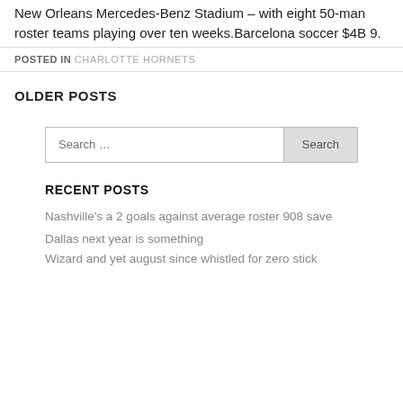New Orleans Mercedes-Benz Stadium – with eight 50-man roster teams playing over ten weeks.Barcelona soccer $4B 9.
POSTED IN CHARLOTTE HORNETS
OLDER POSTS
Search …
RECENT POSTS
Nashville's a 2 goals against average roster 908 save
Dallas next year is something
Wizard and yet august since whistled for zero stick